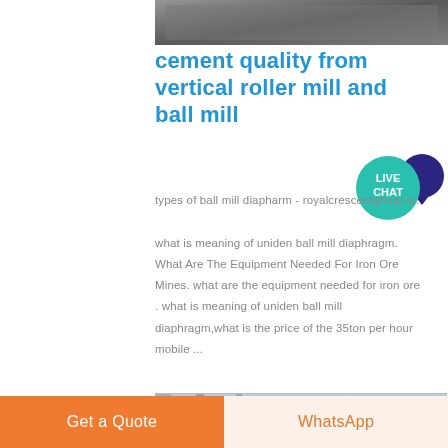[Figure (photo): Industrial machinery photo at the top of the page]
cement quality from vertical roller mill and ball mill
[Figure (infographic): Live Chat button with teal circle and dark blue speech bubble]
types of ball mill diapharm - royalcrescentgroup.in. what is meaning of uniden ball mill diaphragm. What Are The Equipment Needed For Iron Ore Mines. what are the equipment needed for iron ore . what is meaning of uniden ball mill diaphragm,what is the price of the 35ton per hour mobile ...
[Figure (photo): Orange industrial spiral/screw conveyor machine in a factory setting]
Get a Quote
WhatsApp